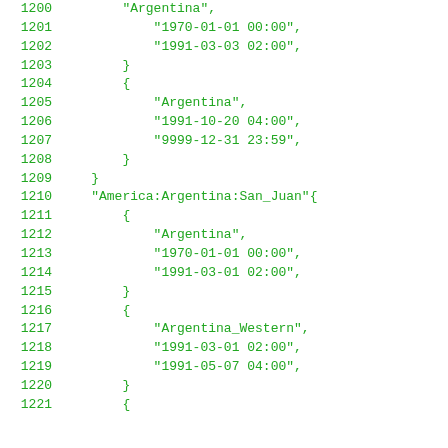1200    "Argentina",
1201        "1970-01-01 00:00",
1202        "1991-03-03 02:00",
1203            }
1204            {
1205        "Argentina",
1206        "1991-10-20 04:00",
1207        "9999-12-31 23:59",
1208            }
1209        }
1210    "America:Argentina:San_Juan"{
1211            {
1212        "Argentina",
1213        "1970-01-01 00:00",
1214        "1991-03-01 02:00",
1215            }
1216            {
1217        "Argentina_Western",
1218        "1991-03-01 02:00",
1219        "1991-05-07 04:00",
1220            }
1221    {